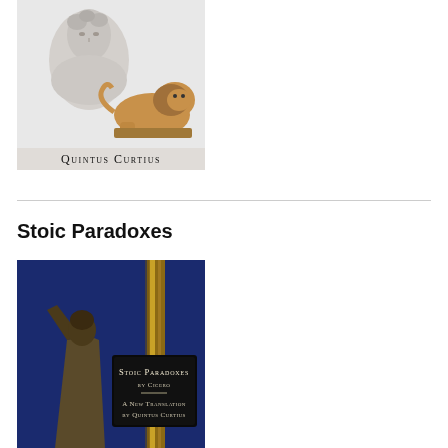[Figure (illustration): Book cover or author image: marble bust of a Roman figure alongside a terracotta lion sculpture, with text 'Quintus Curtius' below in small caps.]
Stoic Paradoxes
[Figure (illustration): Book cover for 'Stoic Paradoxes by Cicero – A New Translation by Quintus Curtius'. Blue background with a bronze statue of a robed figure and a decorative gold column. Black plaque with white small-caps text showing the title and author.]